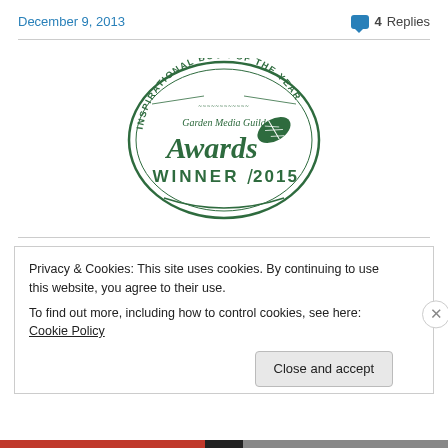December 9, 2013   4 Replies
[Figure (logo): Garden Media Guild Awards Winner 2015 - Inspirational Book of the Year oval badge/logo in dark green]
Privacy & Cookies: This site uses cookies. By continuing to use this website, you agree to their use.
To find out more, including how to control cookies, see here: Cookie Policy
Close and accept